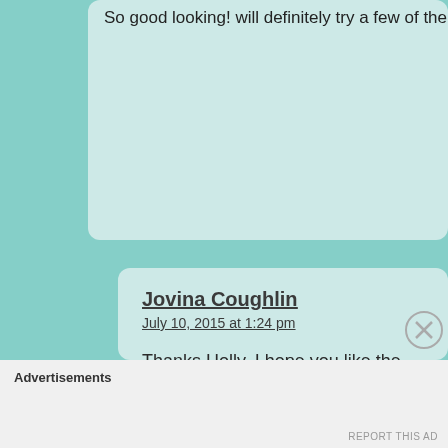So good looking! will definitely try a few of the
Jovina Coughlin
July 10, 2015 at 1:24 pm
Thanks Holly. I hope you like the recipes.
Loading...
Advertisements